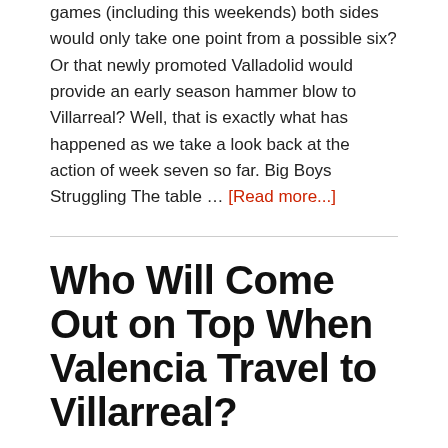games (including this weekends) both sides would only take one point from a possible six? Or that newly promoted Valladolid would provide an early season hammer blow to Villarreal? Well, that is exactly what has happened as we take a look back at the action of week seven so far. Big Boys Struggling The table … [Read more...]
Who Will Come Out on Top When Valencia Travel to Villarreal?
21st September 2018 by Ian Waterhouse